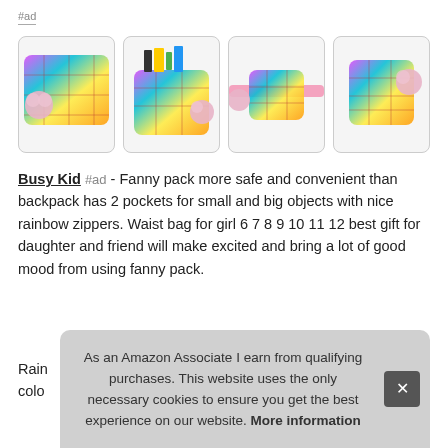#ad
[Figure (photo): Four product photos of an iridescent rainbow holographic fanny pack/waist bag with pink pom-pom and pink strap, shown from different angles and with contents displayed.]
Busy Kid #ad - Fanny pack more safe and convenient than backpack has 2 pockets for small and big objects with nice rainbow zippers. Waist bag for girl 6 7 8 9 10 11 12 best gift for daughter and friend will make excited and bring a lot of good mood from using fanny pack.
Rain... colo...
As an Amazon Associate I earn from qualifying purchases. This website uses the only necessary cookies to ensure you get the best experience on our website. More information